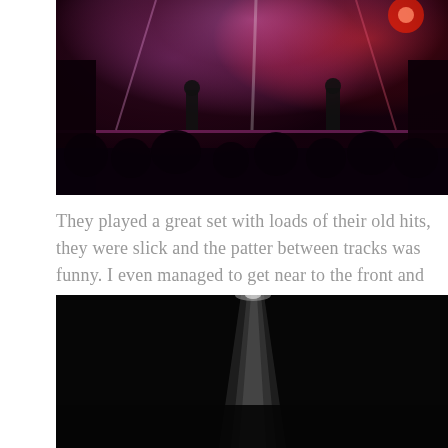[Figure (photo): Concert photo showing performers on a brightly lit stage with pink and red stage lighting, crowd visible in the foreground silhouetted against the stage lights]
They played a great set with loads of their old hits, they were slick and the patter between tracks was funny. I even managed to get near to the front and see Mr Kelly Jones relatively close up... swoon.
[Figure (photo): Very dark concert photo showing a single bright spotlight beam cutting through a dark venue, crowd barely visible]